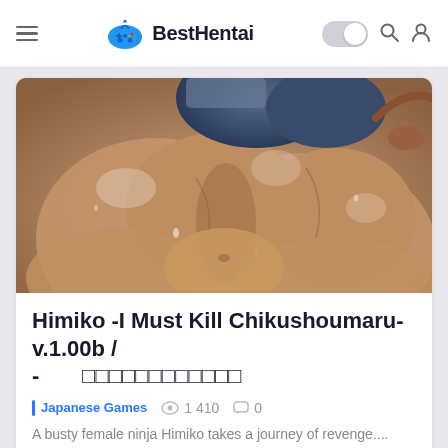BestHentai
[Figure (illustration): Anime-style illustration of a busty female ninja character (Himiko), close-up view of torso area with tan/brown tones, glistening skin effect]
Himiko -I Must Kill Chikushoumaru- v.1.00b / - 비밀이야망가
Japanese Games   1 410   0
A busty female ninja Himiko takes a journey of revenge....